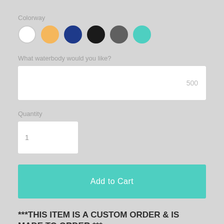Colorway
[Figure (illustration): Six color selection circles: white, orange, dark blue, black, dark gray, teal]
What waterbody would you like?
[Figure (other): White input text box with placeholder value 500 on the right]
Quantity
[Figure (other): Small white input box with placeholder value 1]
[Figure (other): Teal Add to Cart button]
***THIS ITEM IS A CUSTOM ORDER & IS MADE TO ORDER ***
Please carefully read all the information below before making